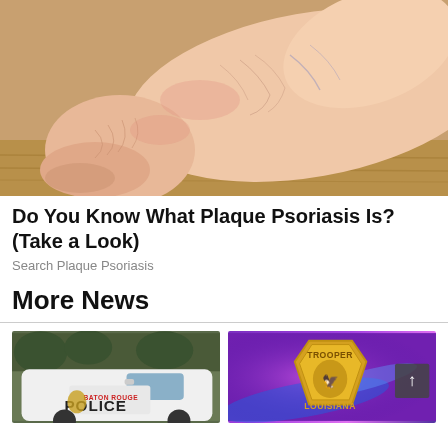[Figure (photo): Close-up photo of a human foot/ankle showing dry, cracked skin possibly affected by plaque psoriasis, on a wooden background.]
Do You Know What Plaque Psoriasis Is? (Take a Look)
Search Plaque Psoriasis
More News
[Figure (photo): A white Baton Rouge Police car with the BRPD logo and the word POLICE visible on the side door.]
[Figure (photo): A gold Louisiana State Trooper badge against a purple/blue glowing background, with a scroll-up arrow button overlay.]